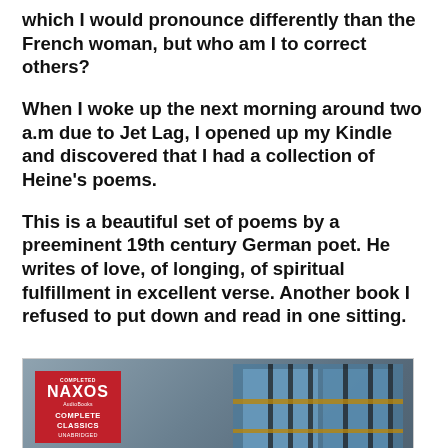which I would pronounce differently than the French woman, but who am I to correct others?
When I woke up the next morning around two a.m due to Jet Lag, I opened up my Kindle and discovered that I had a collection of Heine's poems.
This is a beautiful set of poems by a preeminent 19th century German poet. He writes of love, of longing, of spiritual fulfillment in excellent verse. Another book I refused to put down and read in one sitting.
[Figure (photo): Book cover for 'The Empty...' by Algernon Blackwood, Naxos AudioBooks Complete Classics Unabridged. Red Naxos label in top left, author name in white uppercase letters, title in gold/yellow large letters at bottom, background shows a staircase with blue tones.]